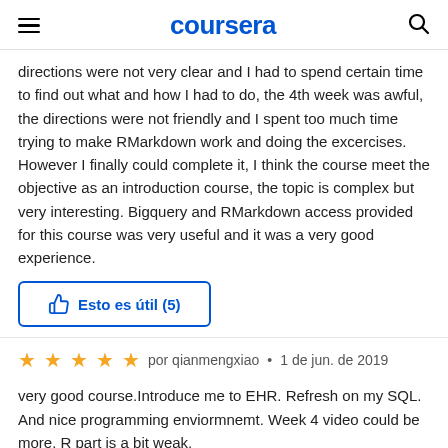coursera
directions were not very clear and I had to spend certain time to find out what and how I had to do, the 4th week was awful, the directions were not friendly and I spent too much time trying to make RMarkdown work and doing the excercises. However I finally could complete it, I think the course meet the objective as an introduction course, the topic is complex but very interesting. Bigquery and RMarkdown access provided for this course was very useful and it was a very good experience.
Esto es útil (5)
por qianmengxiao • 1 de jun. de 2019
very good course.Introduce me to EHR. Refresh on my SQL. And nice programming enviormnemt. Week 4 video could be more. R part is a bit weak.